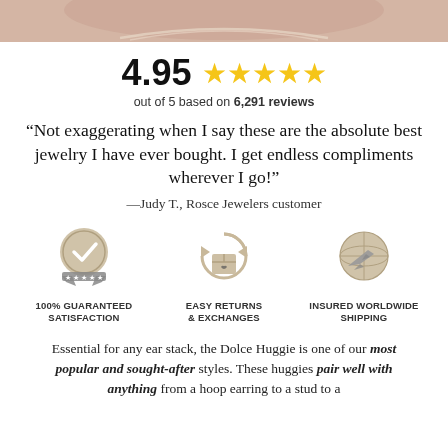[Figure (photo): Top portion of a person wearing a diamond necklace, cropped image showing neck/chin area]
4.95 ★★★★★ out of 5 based on 6,291 reviews
“Not exaggerating when I say these are the absolute best jewelry I have ever bought. I get endless compliments wherever I go!”
—Judy T., Rosce Jewelers customer
[Figure (infographic): Three icons: 100% Guaranteed Satisfaction (medal with checkmark and ribbon), Easy Returns & Exchanges (box with circular arrows and heart), Insured Worldwide Shipping (globe with airplane)]
Essential for any ear stack, the Dolce Huggie is one of our most popular and sought-after styles. These huggies pair well with anything from a hoop earring to a stud to a